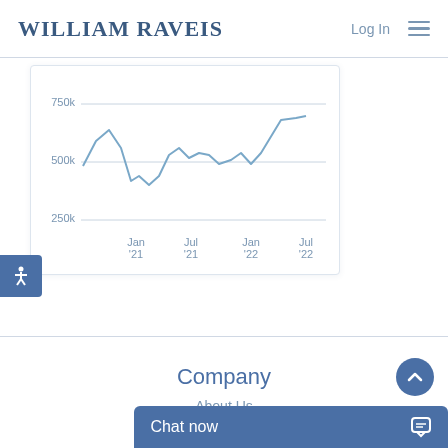William Raveis — Log In [menu]
[Figure (line-chart): Line chart showing median home price from Jan 2021 to Jul 2022, ranging roughly 250k to 750k]
[Figure (infographic): Accessibility button with person icon]
Company
About Us
Chat now